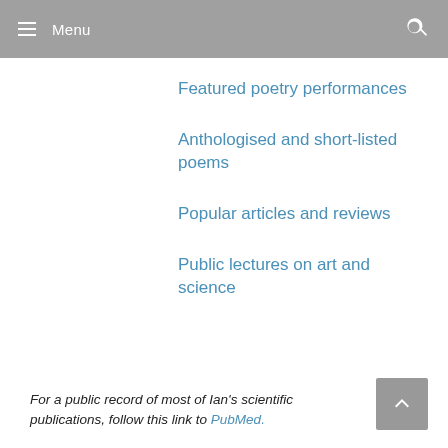Menu
Featured poetry performances
Anthologised and short-listed poems
Popular articles and reviews
Public lectures on art and science
For a public record of most of Ian's scientific publications, follow this link to PubMed.